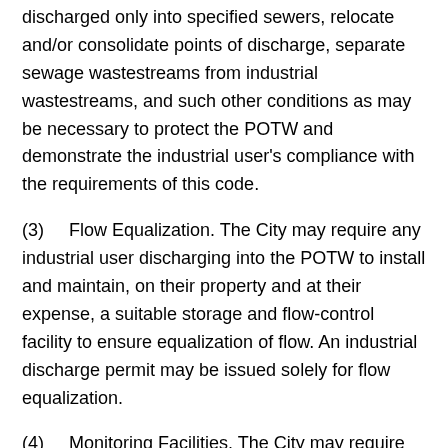discharged only into specified sewers, relocate and/or consolidate points of discharge, separate sewage wastestreams from industrial wastestreams, and such other conditions as may be necessary to protect the POTW and demonstrate the industrial user's compliance with the requirements of this code.
(3)    Flow Equalization. The City may require any industrial user discharging into the POTW to install and maintain, on their property and at their expense, a suitable storage and flow-control facility to ensure equalization of flow. An industrial discharge permit may be issued solely for flow equalization.
(4)    Monitoring Facilities. The City may require an industrial user to install at the industrial user's expense, a manhole and suitable monitoring facilities or